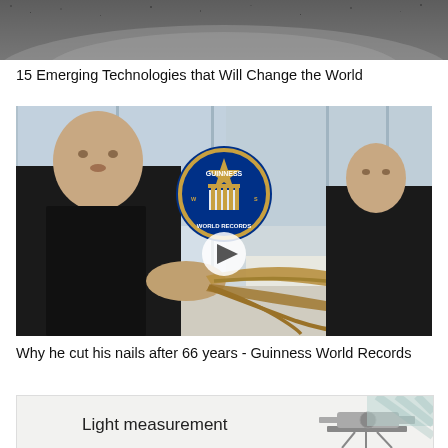[Figure (photo): Partial top photo of a dark gravelly/sandy surface, cropped at top of page]
15 Emerging Technologies that Will Change the World
[Figure (photo): A man in a black jacket holding extremely long curling fingernails over a table, with a Guinness World Records logo and play button overlay in center]
Why he cut his nails after 66 years - Guinness World Records
[Figure (photo): Partial bottom card showing 'Light measurement' text and a measuring instrument on the right side]